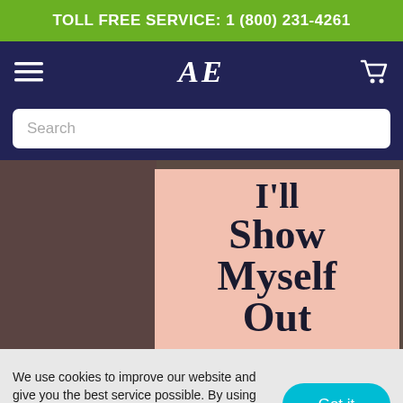TOLL FREE SERVICE: 1 (800) 231-4261
[Figure (screenshot): AE store navigation bar with hamburger menu, AE italic serif logo, and shopping cart icon on dark navy background]
[Figure (screenshot): Search input field with placeholder text 'Search']
[Figure (photo): Hero banner with pink book cover partially visible showing bold serif text reading 'I'll Show Myself' on a pink background, against a dark brownish blurred background]
We use cookies to improve our website and give you the best service possible. By using our website, you agree to our cookie policy. Learn more here.